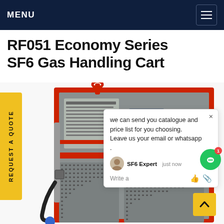MENU
RF051 Economy Series SF6 Gas Handling Cart
[Figure (photo): SF6 gas handling cart (RF051 Economy Series) — a large red-framed industrial machine with grey panels, perforated ventilation grilles, gauges, hoses, and a lifting hook at the top.]
REQUEST A QUOTE
we can send you catalogue and price list for you choosing.
Leave us your email or whatsapp .
SF6 Expert   just now
Write a